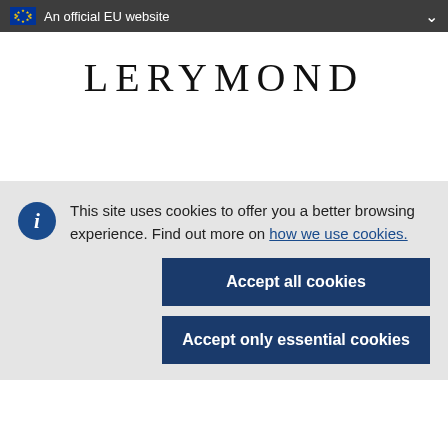An official EU website
LERYMOND
This site uses cookies to offer you a better browsing experience. Find out more on how we use cookies.
Accept all cookies
Accept only essential cookies